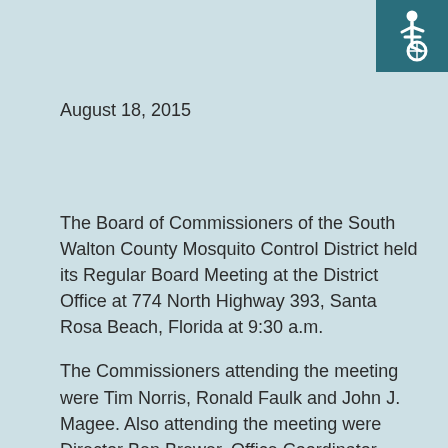[Figure (logo): Wheelchair accessibility icon, white symbol on teal square background, top-right corner]
August 18, 2015
The Board of Commissioners of the South Walton County Mosquito Control District held its Regular Board Meeting at the District Office at 774 North Highway 393, Santa Rosa Beach, Florida at 9:30 a.m.
The Commissioners attending the meeting were Tim Norris, Ronald Faulk and John J. Magee. Also attending the meeting were Director Ben Brewer, Office Coordinator Geraldine Via, Bonnie McQuiston and Pat Magee.